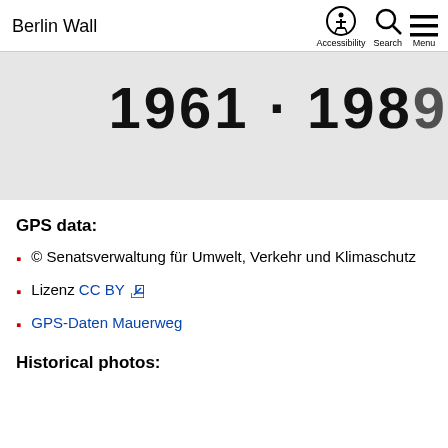Berlin Wall | Accessibility Search Menu
[Figure (photo): Partial image showing large bold numbers '1961 · 1989' on a light gray background, cropped at the right edge]
GPS data:
© Senatsverwaltung für Umwelt, Verkehr und Klimaschutz
Lizenz CC BY [external link]
GPS-Daten Mauerweg
Historical photos: